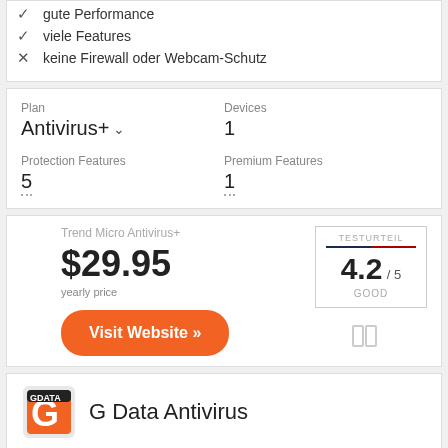✓ gute Performance
✓ viele Features
✗ keine Firewall oder Webcam-Schutz
| Plan | Devices |
| --- | --- |
| Antivirus+ ▾ | 1 |
| Protection Features | Premium Features |
| 5 | 1 |
Trend Micro Antivirus+
$29.95 yearly price
TESTURTEIL 4.2 / 5 GOOD
Visit Website »
G Data Antivirus